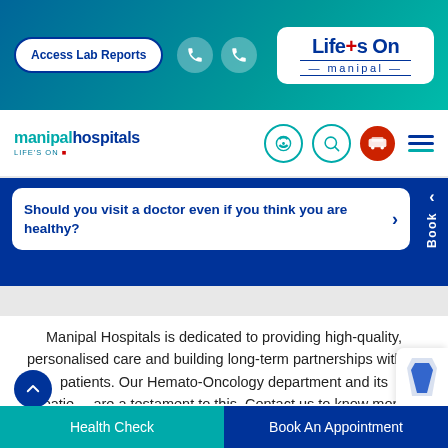[Figure (screenshot): Manipal Hospitals website header with Access Lab Reports button, phone icons, and Life's On Manipal logo on teal/blue gradient background]
[Figure (logo): Manipal Hospitals navigation bar with logo, microphone, search, ambulance, and hamburger menu icons]
Should you visit a doctor even if you think you are healthy?
Manipal Hospitals is dedicated to providing high-quality, personalised care and building long-term partnerships with its patients. Our Hemato-Oncology department and its patients are a testament to this. Contact us to know more about hemato-oncology problems and book an appointment with one of our hematologists today.
Health Check | Book An Appointment